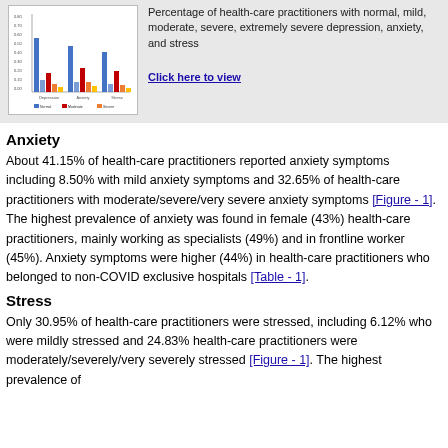[Figure (bar-chart): Thumbnail bar chart showing percentage of health-care practitioners with normal, mild, moderate, severe, extremely severe depression, anxiety, and stress]
Percentage of health-care practitioners with normal, mild, moderate, severe, extremely severe depression, anxiety, and stress
Click here to view
Anxiety
About 41.15% of health-care practitioners reported anxiety symptoms including 8.50% with mild anxiety symptoms and 32.65% of health-care practitioners with moderate/severe/very severe anxiety symptoms [Figure - 1]. The highest prevalence of anxiety was found in female (43%) health-care practitioners, mainly working as specialists (49%) and in frontline worker (45%). Anxiety symptoms were higher (44%) in health-care practitioners who belonged to non-COVID exclusive hospitals [Table - 1].
Stress
Only 30.95% of health-care practitioners were stressed, including 6.12% who were mildly stressed and 24.83% health-care practitioners were moderately/severely/very severely stressed [Figure - 1]. The highest prevalence of